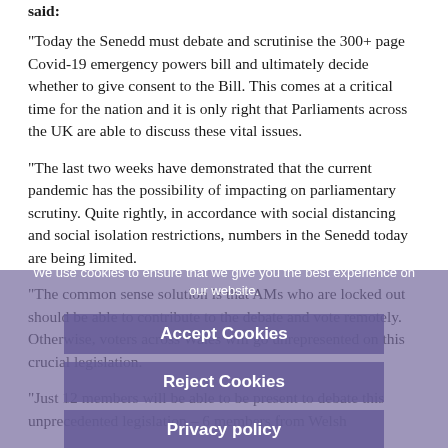said:
“Today the Senedd must debate and scrutinise the 300+ page Covid-19 emergency powers bill and ultimately decide whether to give consent to the Bill. This comes at a critical time for the nation and it is only right that Parliaments across the UK are able to discuss these vital issues.
“The last two weeks have demonstrated that the current pandemic has the possibility of impacting on parliamentary scrutiny. Quite rightly, in accordance with social distancing and social isolation restrictions, numbers in the Senedd today are being limited.
“The common sense solution is that AMs who are locked out should be able to contribute to the debate and vote remotely. Otherwise, voters across Wales will go unrepresented on this crucial legislation.
“Just 12 members will be able to be present to debate this unprecedented legislation – 6 members from Welsh